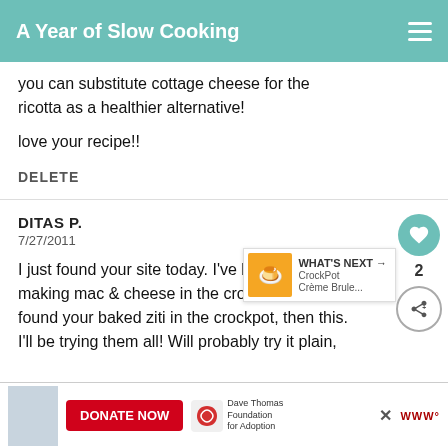A Year of Slow Cooking
you can substitute cottage cheese for the ricotta as a healthier alternative!
love your recipe!!
DELETE
DITAS P.
7/27/2011
I just found your site today. I've been making mac & cheese in the crock, found your baked ziti in the crockpot, then this. I'll be trying them all! Will probably try it plain,
2
WHAT'S NEXT → CrockPot Crème Brule...
DONATE NOW
Dave Thomas Foundation for Adoption